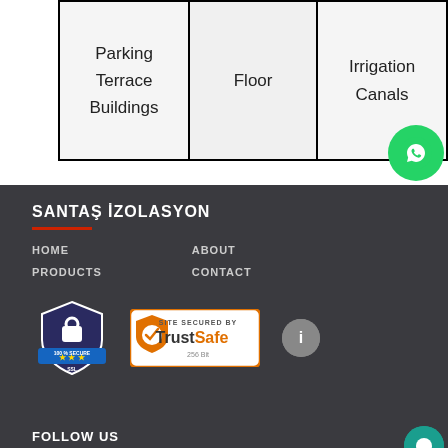| Parking
Terrace
Buildings | Floor | Irrigation
Canals |
SANTAŞ İZOLASYON
HOME
ABOUT
PRODUCTS
CONTACT
[Figure (logo): 100% Secure SSL shield badge]
[Figure (logo): Site Secured by TrustSafe 256 Bit badge]
[Figure (logo): WhatsApp contact button (green circle)]
[Figure (logo): Chat button (teal circle)]
FOLLOW US